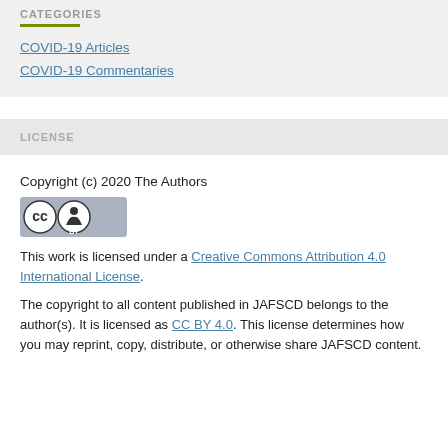CATEGORIES
COVID-19 Articles
COVID-19 Commentaries
LICENSE
Copyright (c) 2020 The Authors
[Figure (logo): Creative Commons CC BY license badge]
This work is licensed under a Creative Commons Attribution 4.0 International License.
The copyright to all content published in JAFSCD belongs to the author(s). It is licensed as CC BY 4.0. This license determines how you may reprint, copy, distribute, or otherwise share JAFSCD content.